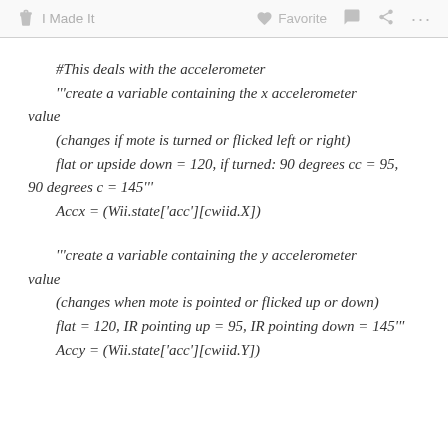I Made It   Favorite   ···
#This deals with the accelerometer
'''create a variable containing the x accelerometer value
(changes if mote is turned or flicked left or right)
flat or upside down = 120, if turned: 90 degrees cc = 95, 90 degrees c = 145'''
Accx = (Wii.state['acc'][cwiid.X])

'''create a variable containing the y accelerometer value
(changes when mote is pointed or flicked up or down)
flat = 120, IR pointing up = 95, IR pointing down = 145'''
Accy = (Wii.state['acc'][cwiid.Y])